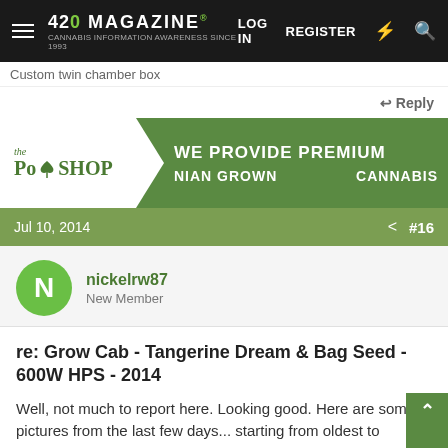420 Magazine | LOG IN | REGISTER
Custom twin chamber box
Reply
[Figure (illustration): The Pot Shop advertisement banner: white logo area on left with 'the PotShop' text and leaf icon, green background on right with text 'WE PROVIDE PREMIUM' and 'NIAN GROWN   CANNABIS']
Jul 10, 2014    #16
nickelrw87
New Member
re: Grow Cab - Tangerine Dream & Bag Seed - 600W HPS - 2014
Well, not much to report here. Looking good. Here are some pictures from the last few days... starting from oldest to youngest in date.